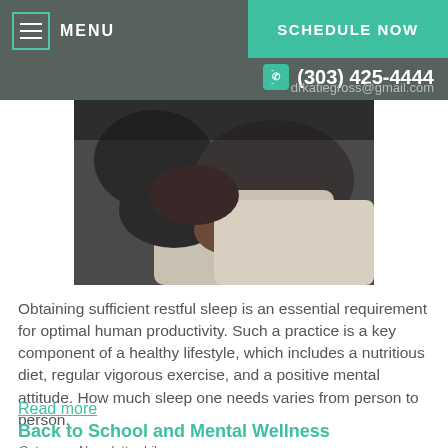MENU | SCHEDULE NOW | (303) 425-4444 | drkatiegross@gmail.com
[Figure (photo): A medical massage therapy image showing hands on a patient's back/shoulder area, dark-toned skin, clinical setting]
Obtaining sufficient restful sleep is an essential requirement for optimal human productivity. Such a practice is a key component of a healthy lifestyle, which includes a nutritious diet, regular vigorous exercise, and a positive mental attitude. How much sleep one needs varies from person to person.
Read more
Back to School and Mental Wellness
Category: Newsletter Library